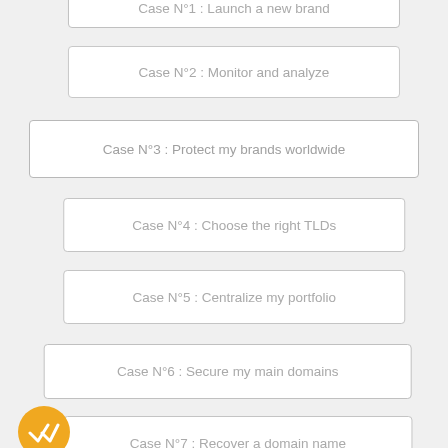Case N°1 : Launch a new brand
Case N°2 : Monitor and analyze
Case N°3 : Protect my brands worldwide
Case N°4 : Choose the right TLDs
Case N°5 : Centralize my portfolio
Case N°6 : Secure my main domains
Case N°7 : Recover a domain name
Case N°8 : Choose the right SSL certificate
Case N°9 : Rationalize my portfolio